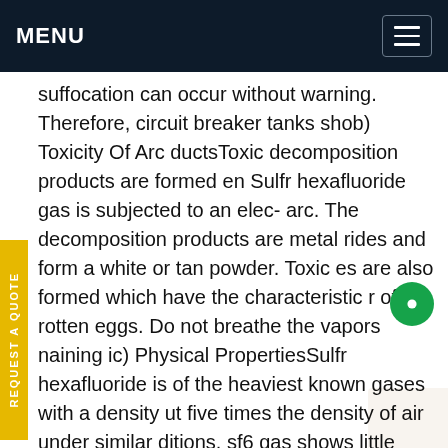MENU
suffocation can occur without warning. Therefore, circuit breaker tanks shob) Toxicity Of Arc ductsToxic decomposition products are formed en Sulfr hexafluoride gas is subjected to an elec- arc. The decomposition products are metal rides and form a white or tan powder. Toxic es are also formed which have the characteristic r of rotten eggs. Do not breathe the vapors naining ic) Physical PropertiesSulfr hexafluoride is of the heaviest known gases with a density ut five times the density of air under similar ditions. sf6 gas shows little change in vapor pressure over a wide temperature range and is a soft gas in that it is more compressible dynamically than air. The heat transfer coefficient of See more on electrical-engineering-portalReviews: